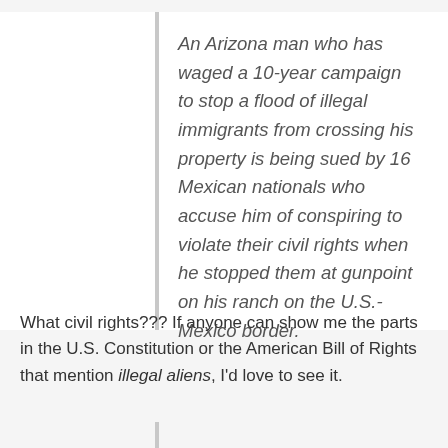An Arizona man who has waged a 10-year campaign to stop a flood of illegal immigrants from crossing his property is being sued by 16 Mexican nationals who accuse him of conspiring to violate their civil rights when he stopped them at gunpoint on his ranch on the U.S.-Mexico border.
What civil rights??? If anyone can show me the parts in the U.S. Constitution or the American Bill of Rights that mention illegal aliens, I'd love to see it.